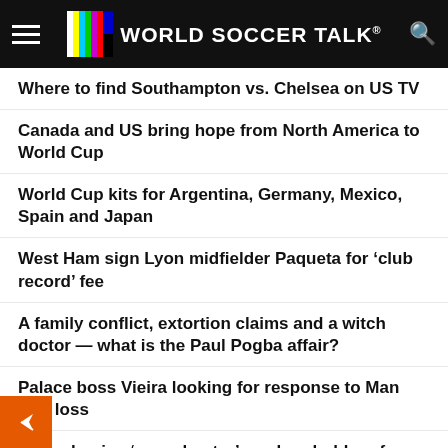WORLD SOCCER TALK
Where to find Southampton vs. Chelsea on US TV
Canada and US bring hope from North America to World Cup
World Cup kits for Argentina, Germany, Mexico, Spain and Japan
West Ham sign Lyon midfielder Paqueta for ‘club record’ fee
A family conflict, extortion claims and a witch doctor — what is the Paul Pogba affair?
Palace boss Vieira looking for response to Man City loss
Henry begins ‘new chapter’ as shareholder of ambitious Como
How to watch Sky Sports Transfer Deadline Day in United States
SOCCER TV SCHEDULES APP